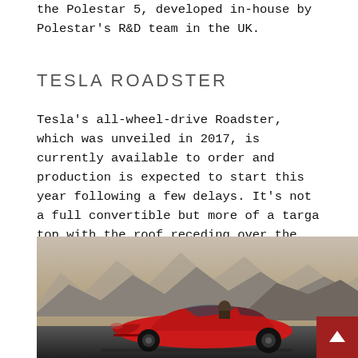the Polestar 5, developed in-house by Polestar's R&D team in the UK.
TESLA ROADSTER
Tesla's all-wheel-drive Roadster, which was unveiled in 2017, is currently available to order and production is expected to start this year following a few delays. It's not a full convertible but more of a targa top with the roof receding over the driver and passenger on this compact four-seater sports car.
[Figure (photo): Red Tesla Roadster sports car driving on a road with rocky mountains in the background under a warm sky.]